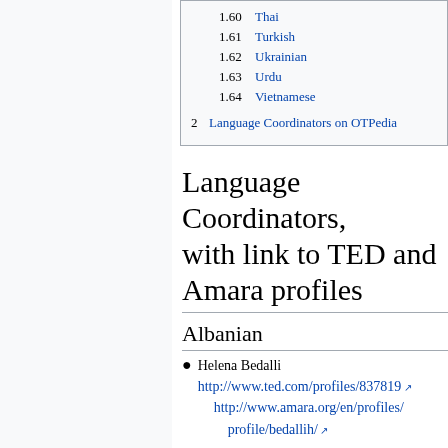1.60 Thai
1.61 Turkish
1.62 Ukrainian
1.63 Urdu
1.64 Vietnamese
2 Language Coordinators on OTPedia
Language Coordinators, with link to TED and Amara profiles
Albanian
Helena Bedalli
http://www.ted.com/profiles/837819
http://www.amara.org/en/profiles/profile/bedallih/
Amharic